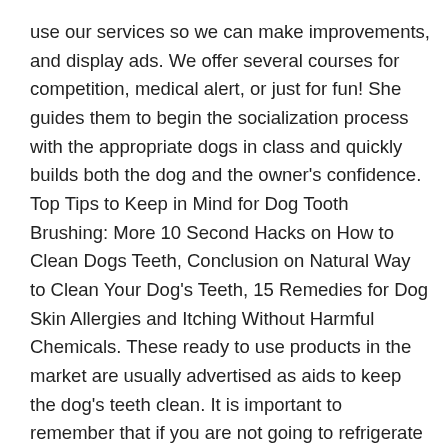use our services so we can make improvements, and display ads. We offer several courses for competition, medical alert, or just for fun! She guides them to begin the socialization process with the appropriate dogs in class and quickly builds both the dog and the owner's confidence. Top Tips to Keep in Mind for Dog Tooth Brushing: More 10 Second Hacks on How to Clean Dogs Teeth, Conclusion on Natural Way to Clean Your Dog's Teeth, 15 Remedies for Dog Skin Allergies and Itching Without Harmful Chemicals. These ready to use products in the market are usually advertised as aids to keep the dog's teeth clean. It is important to remember that if you are not going to refrigerate the mixture we suggest adding the probiotic right before you brush the teeth rather than in the immediate mixture. Get it as soon as Thu, Dec 17. We'll see if it can help my dog's bad breath. homemade dog mouthwash Effective Dog Training . Five-ingredient homemade dog toothpaste recipe Most of the recipes available online are based on baking soda and then add a little bit